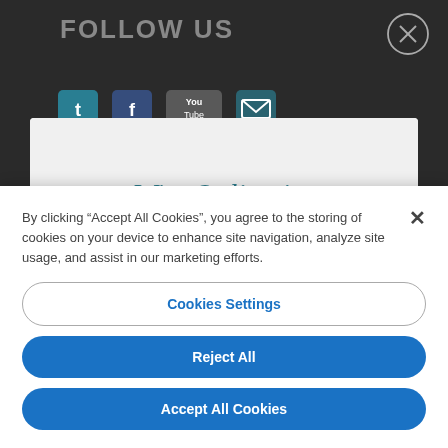[Figure (screenshot): Dark background website page showing 'FOLLOW US' heading with social media icons and WineOnline.ie logo with 'WINE AND SPIRITS SPECIALISTS' tagline, partially obscured by a cookie consent popup]
By clicking “Accept All Cookies”, you agree to the storing of cookies on your device to enhance site navigation, analyze site usage, and assist in our marketing efforts.
Cookies Settings
Reject All
Accept All Cookies